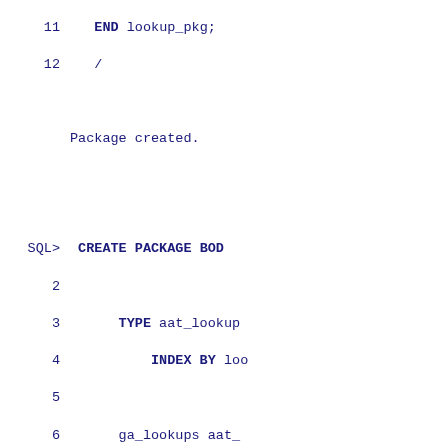11   END lookup_pkg;
 12  /

Package created.

SQL> CREATE PACKAGE BOD
  2
  3      TYPE aat_lookup
  4          INDEX BY loo
  5
  6      ga_lookups aat_
  7
  8      ---------------
  9
 10      FUNCTION table_
 11              p_key
 12              ) RETU
 13
 14      v_return loo
 15
 16      BEGIN
 17
 18      SELECT descr
 19      FROM   looku
 20      WHERE  pri...